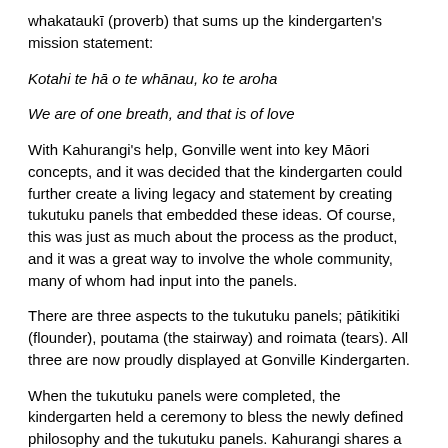whakataukī (proverb) that sums up the kindergarten's mission statement:
Kotahi te hā o te whānau, ko te aroha
We are of one breath, and that is of love
With Kahurangi's help, Gonville went into key Māori concepts, and it was decided that the kindergarten could further create a living legacy and statement by creating tukutuku panels that embedded these ideas. Of course, this was just as much about the process as the product, and it was a great way to involve the whole community, many of whom had input into the panels.
There are three aspects to the tukutuku panels; pātikitiki (flounder), poutama (the stairway) and roimata (tears). All three are now proudly displayed at Gonville Kindergarten.
When the tukutuku panels were completed, the kindergarten held a ceremony to bless the newly defined philosophy and the tukutuku panels. Kahurangi shares a poignant moment.
"During the blessing of the panels, one of the little boys, when the karakia [had] gone off the panels, he said he was learning Māori…